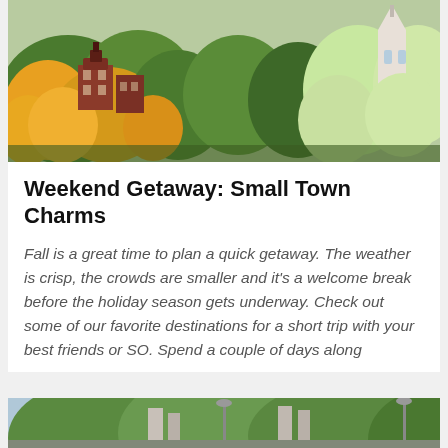[Figure (photo): Aerial or elevated view of a small town in autumn, showing colorful fall foliage (yellow, orange, green trees), red brick buildings, a white church steeple visible on the right side of the image.]
Weekend Getaway: Small Town Charms
Fall is a great time to plan a quick getaway. The weather is crisp, the crowds are smaller and it's a welcome break before the holiday season gets underway. Check out some of our favorite destinations for a short trip with your best friends or SO. Spend a couple of days along
[Figure (photo): Bottom partial view of a second article image, showing outdoor scene with trees and some structures or lamp posts.]